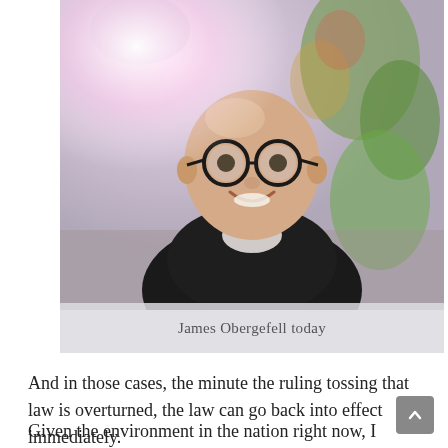[Figure (photo): Portrait photo of James Obergefell, a bald man wearing round black-framed glasses and a dark blazer, smiling, with a colorful abstract background and plants.]
James Obergefell today
And in those cases, the minute the ruling tossing that law is overturned, the law can go back into effect immediately.
Given the environment in the nation right now, I wouldn't be surprised to see DOMA enforced at the